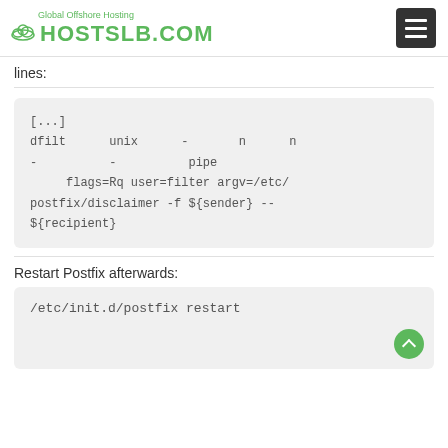Global Offshore Hosting HOSTSLB.COM
lines:
[...]
dfilt      unix      -       n      n
-          -          pipe
    flags=Rq user=filter argv=/etc/
postfix/disclaimer -f ${sender} --
${recipient}
Restart Postfix afterwards:
/etc/init.d/postfix restart